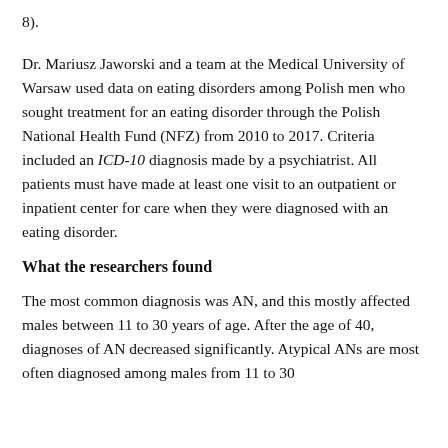8).
Dr. Mariusz Jaworski and a team at the Medical University of Warsaw used data on eating disorders among Polish men who sought treatment for an eating disorder through the Polish National Health Fund (NFZ) from 2010 to 2017. Criteria included an ICD-10 diagnosis made by a psychiatrist. All patients must have made at least one visit to an outpatient or inpatient center for care when they were diagnosed with an eating disorder.
What the researchers found
The most common diagnosis was AN, and this mostly affected males between 11 to 30 years of age. After the age of 40, diagnoses of AN decreased significantly. Atypical ANs are most often diagnosed among males from 11 to 30